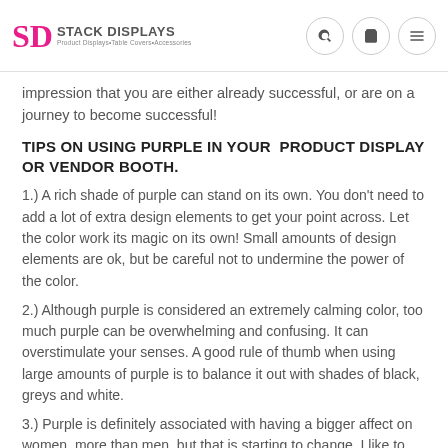SD STACK DISPLAYS Product Displays•Table Covers•Accessories
impression that you are either already successful, or are on a journey to become successful!
TIPS ON USING PURPLE IN YOUR PRODUCT DISPLAY OR VENDOR BOOTH.
1.) A rich shade of purple can stand on its own. You don't need to add a lot of extra design elements to get your point across. Let the color work its magic on its own! Small amounts of design elements are ok, but be careful not to undermine the power of the color.
2.) Although purple is considered an extremely calming color, too much purple can be overwhelming and confusing. It can overstimulate your senses. A good rule of thumb when using large amounts of purple is to balance it out with shades of black, greys and white.
3.) Purple is definitely associated with having a bigger affect on women, more than men, but that is starting to change. I like to compare it to men who aren't afraid to